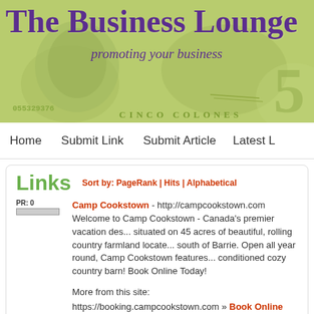[Figure (screenshot): The Business Lounge website banner with green currency/money bill background, purple title text reading 'The Business Lounge' and italic subtitle 'promoting your business']
Home | Submit Link | Submit Article | Latest L
Links
Sort by: PageRank | Hits | Alphabetical
PR: 0
Camp Cookstown - http://campcookstown.com
Welcome to Camp Cookstown - Canada's premier vacation des... situated on 45 acres of beautiful, rolling country farmland locate... south of Barrie. Open all year round, Camp Cookstown features... conditioned cozy country barn! Book Online Today!
More from this site:
https://booking.campcookstown.com » Book Online Today!
PR: 0
Royal Frenchel - https://royalfrenchel.com/